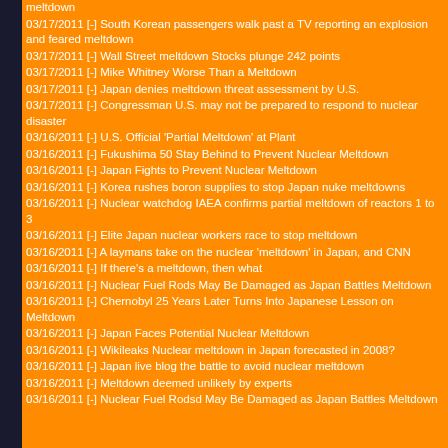meltdown
03/17/2011 [-] South Korean passengers walk past a TV reporting an explosion and feared meltdown
03/17/2011 [-] Wall Street meltdown Stocks plunge 242 points
03/17/2011 [-] Mike Whitney Worse Than a Meltdown
03/17/2011 [-] Japan denies meltdown threat assessment by U.S.
03/17/2011 [-] Congressman U.S. may not be prepared to respond to nuclear disaster
03/16/2011 [-] U.S. Official 'Partial Meltdown' at Plant
03/16/2011 [-] Fukushima 50 Stay Behind to Prevent Nuclear Meltdown
03/16/2011 [-] Japan Fights to Prevent Nuclear Meltdown
03/16/2011 [-] Korea rushes boron supplies to stop Japan nuke meltdowns
03/16/2011 [-] Nuclear watchdog IAEA confirms partial meltdown of reactors 1 to 3
03/16/2011 [-] Elite Japan nuclear workers race to stop meltdown
03/16/2011 [-] A laymans take on the nuclear 'meltdown' in Japan, and CNN
03/16/2011 [-] If there's a meltdown, then what
03/16/2011 [-] Nuclear Fuel Rods May Be Damaged as Japan Battles Meltdown
03/16/2011 [-] Chernobyl 25 Years Later Turns Into Japanese Lesson on Meltdown
03/16/2011 [-] Japan Faces Potential Nuclear Meltdown
03/16/2011 [-] Wikileaks Nuclear meltdown in Japan forecasted in 2008?
03/16/2011 [-] Japan live blog the battle to avoid nuclear meltdown
03/16/2011 [-] Meltdown deemed unlikely by experts
03/16/2011 [-] Nuclear Fuel Rodsd May Be Damaged as Japan Battles Meltdown